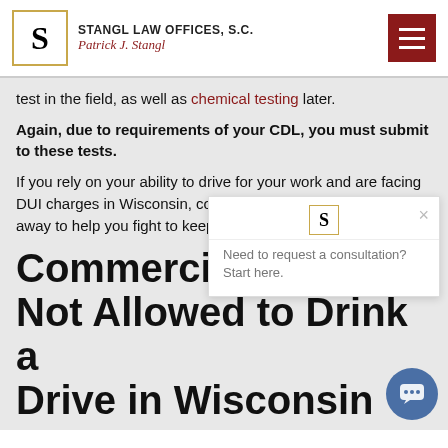STANGL LAW OFFICES, S.C. Patrick J. Stangl
test in the field, as well as chemical testing later.
Again, due to requirements of your CDL, you must submit to these tests.
If you rely on your ability to drive for your work and are facing DUI charges in Wisconsin, contact a skilled OWI lawyer right away to help you fight to keep your driving privileges.
Commercial Not Allowed to Drink and Drive in Wisconsin